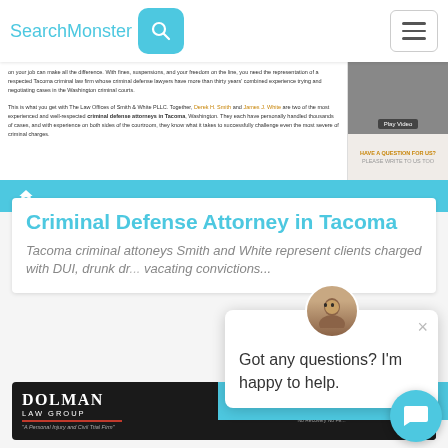SearchMonster
[Figure (screenshot): Screenshot of a law firm website showing text about criminal defense attorneys in Tacoma, a Play Video button, and a Have a Question for Us section]
[Figure (screenshot): Blue navigation bar with home icon]
Criminal Defense Attorney in Tacoma
Tacoma criminal attoneys Smith and White represent clients charged with DUI, drunk dr... vacating convictions...
Got any questions? I'm happy to help.
[Figure (screenshot): Dolman Law Group website screenshot with phone number (727) 451-6]
Automobile accide...